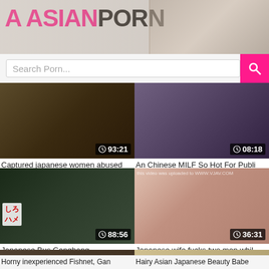A ASIANPORN
Search Porn...
[Figure (screenshot): Video thumbnail with duration 93:21]
Captured japanese women abused
[Figure (screenshot): Video thumbnail with duration 08:18]
An Chinese MILF So Hot For Publi
[Figure (screenshot): Video thumbnail with duration 88:56]
Japanese Bus Gangbang
[Figure (screenshot): Video thumbnail with duration 36:31]
Japanese wife fucks two men whil
[Figure (screenshot): Video thumbnail with duration 50:24]
Horny inexperienced Fishnet, Gang
[Figure (screenshot): Video thumbnail with duration 63:47]
Hairy Asian Japanese Beauty Babe